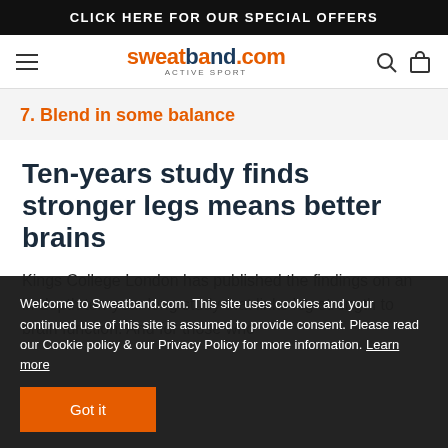CLICK HERE FOR OUR SPECIAL OFFERS
sweatband.com active sport
7. Blend in some balance
Ten-years study finds stronger legs means better brains
Kings College London has published the findings on an in-depth ten-year long study that links leg strength to brain function. And for those who
Welcome to Sweatband.com. This site uses cookies and your continued use of this site is assumed to provide consent. Please read our Cookie policy & our Privacy Policy for more information. Learn more
Got it